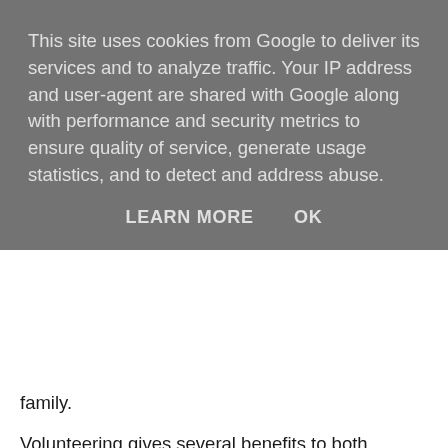This site uses cookies from Google to deliver its services and to analyze traffic. Your IP address and user-agent are shared with Google along with performance and security metrics to ensure quality of service, generate usage statistics, and to detect and address abuse.
LEARN MORE   OK
family.
Volunteering gives several benefits to both psychological and physical wellbeing. Volunteering balances the impacts of pressure, outrage, and tension. The social contact part of aiding and working with others can profoundly affect your general mental prosperity. Nothing alleviates pressure in a way that is better than a significant association with someone else. Working with pets and different creatures has likewise been appeared to improve temperament and lessen pressure and nervousness. Volunteering keeps you in customary contact with others and causes you to build up a strong emotionally supportive network, which thus secures you against despondency. Volunteering satisfies you. By